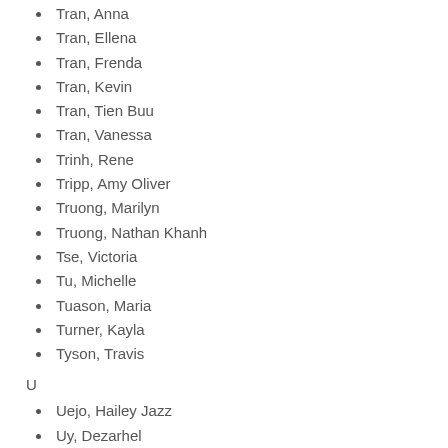Tran, Anna
Tran, Ellena
Tran, Frenda
Tran, Kevin
Tran, Tien Buu
Tran, Vanessa
Trinh, Rene
Tripp, Amy Oliver
Truong, Marilyn
Truong, Nathan Khanh
Tse, Victoria
Tu, Michelle
Tuason, Maria
Turner, Kayla
Tyson, Travis
U
Uejo, Hailey Jazz
Uy, Dezarhel
V
Valencia, Candelaria
Vang, MaiLee